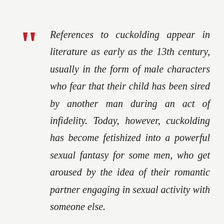References to cuckolding appear in literature as early as the 13th century, usually in the form of male characters who fear that their child has been sired by another man during an act of infidelity. Today, however, cuckolding has become fetishized into a powerful sexual fantasy for some men, who get aroused by the idea of their romantic partner engaging in sexual activity with someone else.